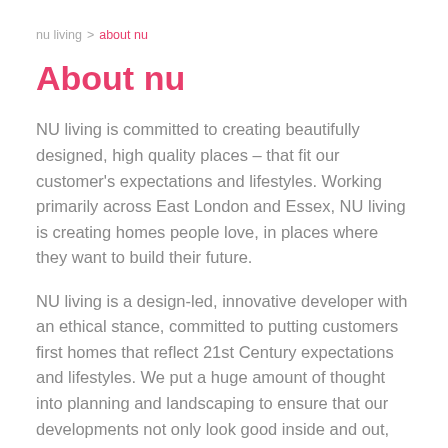nu living > about nu
About nu
NU living is committed to creating beautifully designed, high quality places – that fit our customer's expectations and lifestyles. Working primarily across East London and Essex, NU living is creating homes people love, in places where they want to build their future.
NU living is a design-led, innovative developer with an ethical stance, committed to putting customers first homes that reflect 21st Century expectations and lifestyles. We put a huge amount of thought into planning and landscaping to ensure that our developments not only look good inside and out, they feel like home. NU living is making a difference to individuals, couples and families...